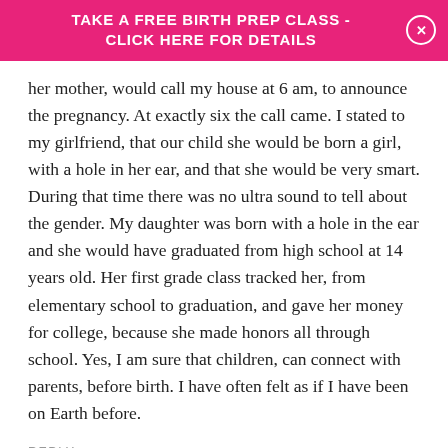TAKE A FREE BIRTH PREP CLASS - CLICK HERE FOR DETAILS
her mother, would call my house at 6 am, to announce the pregnancy. At exactly six the call came. I stated to my girlfriend, that our child she would be born a girl, with a hole in her ear, and that she would be very smart. During that time there was no ultra sound to tell about the gender. My daughter was born with a hole in the ear and she would have graduated from high school at 14 years old. Her first grade class tracked her, from elementary school to graduation, and gave her money for college, because she made honors all through school. Yes, I am sure that children, can connect with parents, before birth. I have often felt as if I have been on Earth before.
REPLY